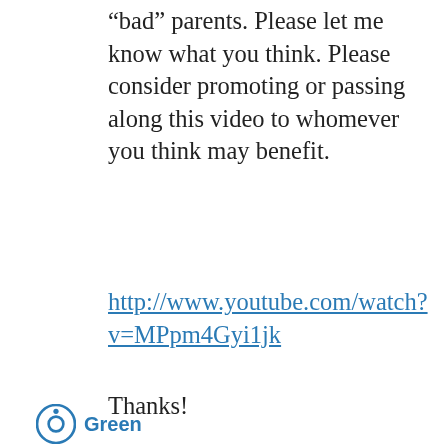“bad” parents. Please let me know what you think. Please consider promoting or passing along this video to whomever you think may benefit.
http://www.youtube.com/watch?v=MPpm4Gyi1jk
Thanks!
Dave
Privacy & Cookies: This site uses cookies. By continuing to use this website, you agree to their use.
To find out more, including how to control cookies, see here: Cookie Policy
Close and accept
Green